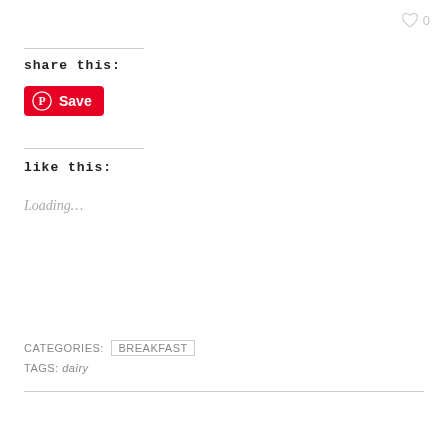♡ 0
share this:
[Figure (other): Pinterest Save button with red background and Pinterest logo]
like this:
Loading...
CATEGORIES: BREAKFAST
TAGS: dairy